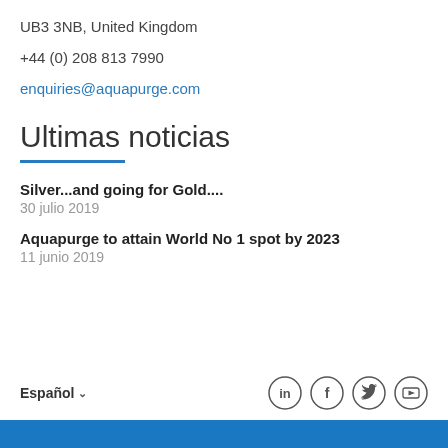UB3 3NB, United Kingdom
+44 (0) 208 813 7990
enquiries@aquapurge.com
Ultimas noticias
Silver...and going for Gold....
30 julio 2019
Aquapurge to attain World No 1 spot by 2023
11 junio 2019
Español
[Figure (illustration): Social media icons: LinkedIn, Facebook, Twitter, YouTube]